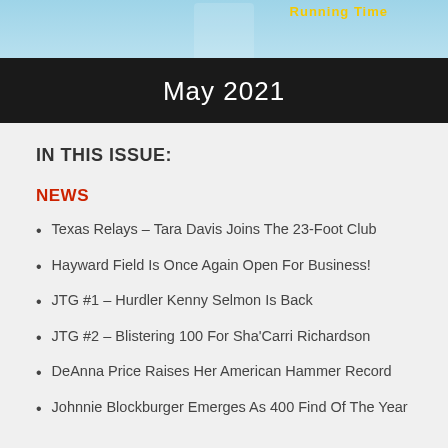[Figure (photo): Top portion of a sports newsletter showing a runner graphic with a light blue background and yellow text partially visible at the top]
May 2021
IN THIS ISSUE:
NEWS
Texas Relays – Tara Davis Joins The 23-Foot Club
Hayward Field Is Once Again Open For Business!
JTG #1 – Hurdler Kenny Selmon Is Back
JTG #2 – Blistering 100 For Sha'Carri Richardson
DeAnna Price Raises Her American Hammer Record
Johnnie Blockburger Emerges As 400 Find Of The Year